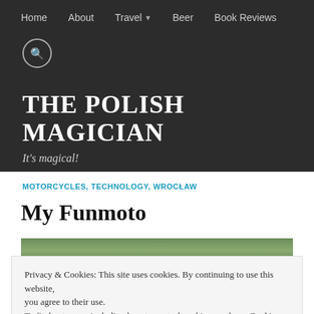Home  About  Travel  Beer  Book Reviews
THE POLISH MAGICIAN
It's magical!
MOTORCYCLES, TECHNOLOGY, WROCŁAW
My Funmoto
[Figure (photo): Outdoor motorcycle photo, green foliage background]
Privacy & Cookies: This site uses cookies. By continuing to use this website, you agree to their use.
To find out more, including how to control cookies, see here: Cookie Policy
Close and accept
[Figure (photo): Red Honda motorcycle close-up]